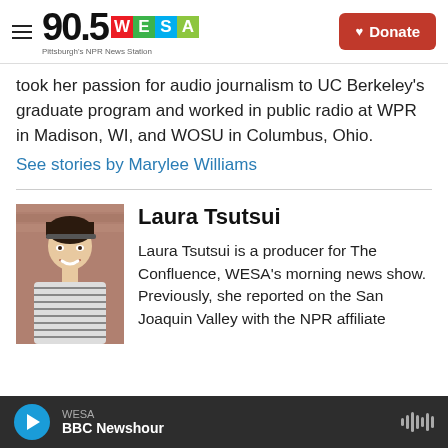90.5 WESA — Pittsburgh's NPR News Station
took her passion for audio journalism to UC Berkeley's graduate program and worked in public radio at WPR in Madison, WI, and WOSU in Columbus, Ohio.
See stories by Marylee Williams
[Figure (photo): Headshot photo of Laura Tsutsui, a young woman with dark hair and a hairband, smiling, wearing a striped shirt, photographed outdoors against a brick wall background.]
Laura Tsutsui
Laura Tsutsui is a producer for The Confluence, WESA's morning news show. Previously, she reported on the San Joaquin Valley with the NPR affiliate
WESA BBC Newshour